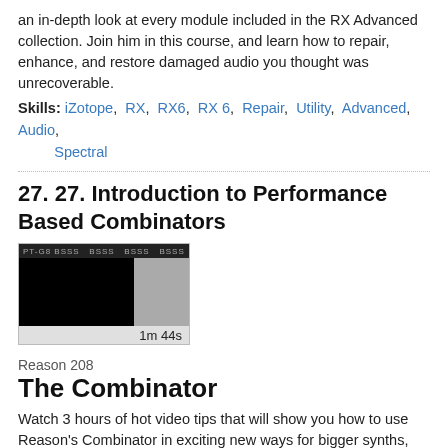an in-depth look at every module included in the RX Advanced collection. Join him in this course, and learn how to repair, enhance, and restore damaged audio you thought was unrecoverable.
Skills: iZotope, RX, RX6, RX 6, Repair, Utility, Advanced, Audio, Spectral
27. 27. Introduction to Performance Based Combinators
[Figure (screenshot): Video thumbnail showing a dark interface with black and gray panels, a toolbar at the top, and a time label '1m 44s' at the bottom right.]
Reason 208
The Combinator
Watch 3 hours of hot video tips that will show you how to use Reason's Combinator in exciting new ways for bigger synths, better beats, and masterful remixes!
Skills: Reason Performance Live Recording Sequence, Dr Octo Rex, RPG-8, Thor, Combinator